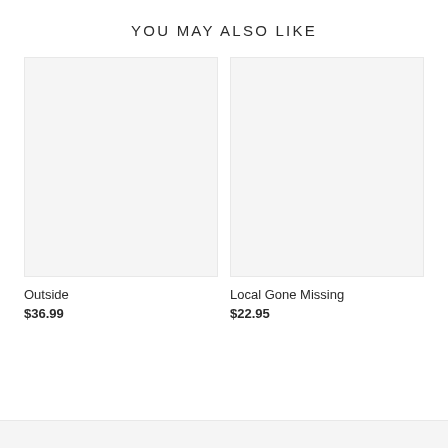YOU MAY ALSO LIKE
[Figure (photo): Product image placeholder for Outside — light gray rectangle]
[Figure (photo): Product image placeholder for Local Gone Missing — light gray rectangle]
Outside
$36.99
Local Gone Missing
$22.95